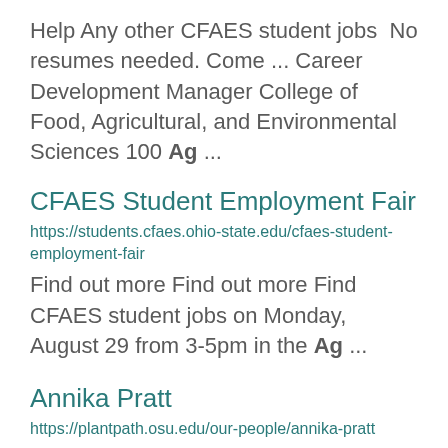Help Any other CFAES student jobs  No resumes needed. Come ... Career Development Manager College of Food, Agricultural, and Environmental Sciences 100 Ag ...
CFAES Student Employment Fair
https://students.cfaes.ohio-state.edu/cfaes-student-employment-fair
Find out more Find out more Find CFAES student jobs on Monday, August 29 from 3-5pm in the Ag ...
Annika Pratt
https://plantpath.osu.edu/our-people/annika-pratt